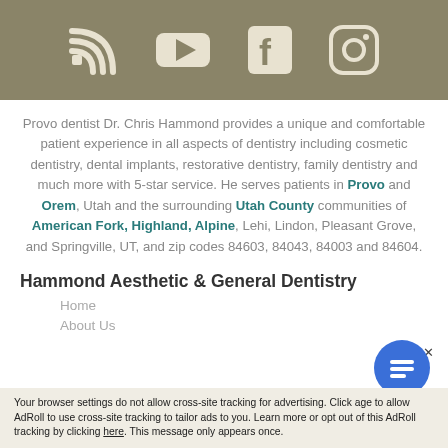[Figure (infographic): Social media icon bar with RSS feed, YouTube, Facebook, and Instagram icons on a tan/khaki background]
Provo dentist Dr. Chris Hammond provides a unique and comfortable patient experience in all aspects of dentistry including cosmetic dentistry, dental implants, restorative dentistry, family dentistry and much more with 5-star service. He serves patients in Provo and Orem, Utah and the surrounding Utah County communities of American Fork, Highland, Alpine, Lehi, Lindon, Pleasant Grove, and Springville, UT, and zip codes 84603, 84043, 84003 and 84604.
Hammond Aesthetic & General Dentistry
Home
About Us
Your browser settings do not allow cross-site tracking for advertising. Click [here] to allow AdRoll to use cross-site tracking to tailor ads to you. Learn more or opt out of this AdRoll tracking by clicking here. This message only appears once.